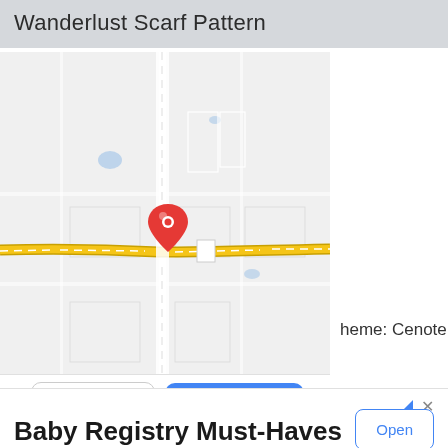Wanderlust Scarf Pattern
[Figure (map): Google Maps screenshot showing a location pin on a road intersection. A yellow highway runs horizontally through the center. The map background is light grey with white roads. A red location marker pin is placed near the center of the map.]
heme: Cenote
Website   Directions
Baby Registry Must-Haves
Browse registry favorites with tools to help you prepare for baby. Amazon Baby Registry
Open